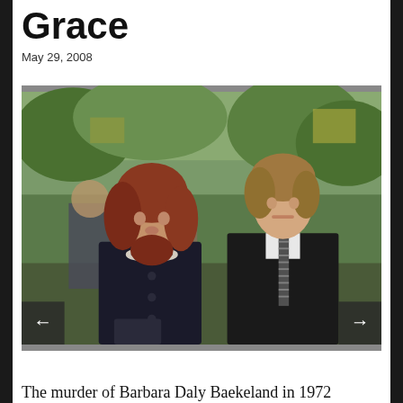Grace
May 29, 2008
[Figure (photo): A woman with red/auburn hair wearing a dark coat with pearl necklace and a young man in a dark suit with striped tie, walking outdoors with other people in the background. Still from what appears to be a film or television production.]
The murder of Barbara Daly Baekeland in 1972